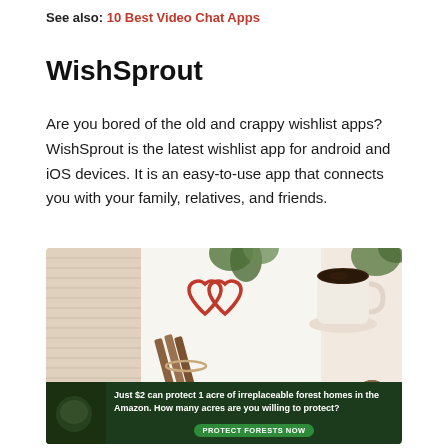See also: 10 Best Video Chat Apps
WishSprout
Are you bored of the old and crappy wishlist apps? WishSprout is the latest wishlist app for android and iOS devices. It is an easy-to-use app that connects you with your family, relatives, and friends.
[Figure (photo): WishSprout promotional banner image showing a cozy flat-lay with cinnamon sticks, a coffee cup, pine cones, green foliage, a knitted fabric, and the WishSprout logo (two interlocked hearts) with the text WISHSPROUT below it. An advertisement banner at the bottom reads: Just $2 can protect 1 acre of irreplaceable forest homes in the Amazon. How many acres are you willing to protect? PROTECT FORESTS NOW]